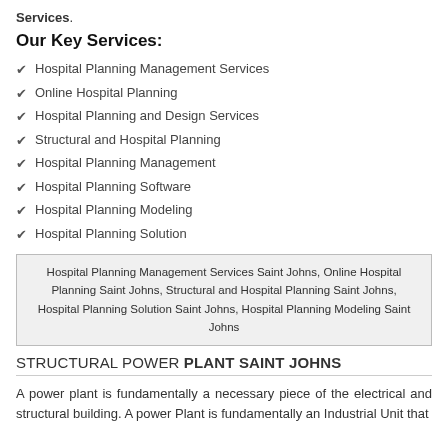Services.
Our Key Services:
Hospital Planning Management Services
Online Hospital Planning
Hospital Planning and Design Services
Structural and Hospital Planning
Hospital Planning Management
Hospital Planning Software
Hospital Planning Modeling
Hospital Planning Solution
Hospital Planning Management Services Saint Johns, Online Hospital Planning Saint Johns, Structural and Hospital Planning Saint Johns, Hospital Planning Solution Saint Johns, Hospital Planning Modeling Saint Johns
STRUCTURAL POWER PLANT SAINT JOHNS
A power plant is fundamentally a necessary piece of the electrical and structural building. A power Plant is fundamentally an Industrial Unit that...